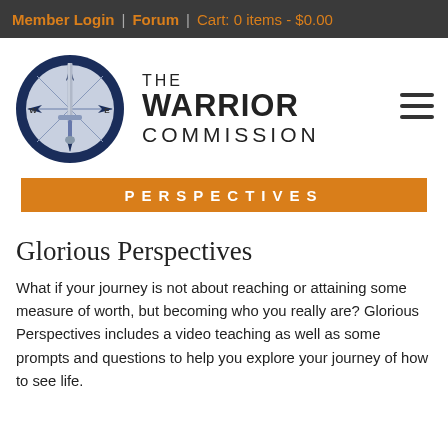Member Login | Forum | Cart: 0 items - $0.00
[Figure (logo): The Warrior Commission logo: a compass with a sword overlaid, in a dark navy blue circle, with compass rose directions W and E visible. To the right, text reads 'THE WARRIOR COMMISSION' in bold sans-serif.]
PERSPECTIVES
Glorious Perspectives
What if your journey is not about reaching or attaining some measure of worth, but becoming who you really are? Glorious Perspectives includes a video teaching as well as some prompts and questions to help you explore your journey of how to see life.